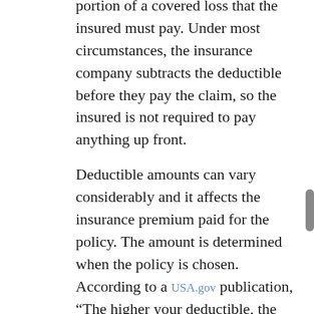Most insurance policies include a deductible. This is the portion of a covered loss that the insured must pay. Under most circumstances, the insurance company subtracts the deductible before they pay the claim, so the insured is not required to pay anything up front.
Deductible amounts can vary considerably and it affects the insurance premium paid for the policy. The amount is determined when the policy is chosen. According to a USA.gov publication, “The higher your deductible, the more money you can save on your premiums.”
How Does the Claims Process Work?
With insurance claims for roofs, you may have to allow an adjuster to inspect the damage. In other cases, an estimate from at least one roofing contractor will need to be submitted to the insurance adjuster in your case. Once a claim is approved the insurance company will